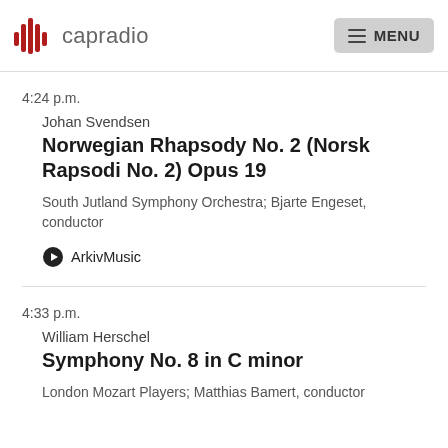capradio | MENU
4:24 p.m.
Johan Svendsen
Norwegian Rhapsody No. 2 (Norsk Rapsodi No. 2) Opus 19
South Jutland Symphony Orchestra; Bjarte Engeset, conductor
ArkivMusic
4:33 p.m.
William Herschel
Symphony No. 8 in C minor
London Mozart Players; Matthias Bamert, conductor